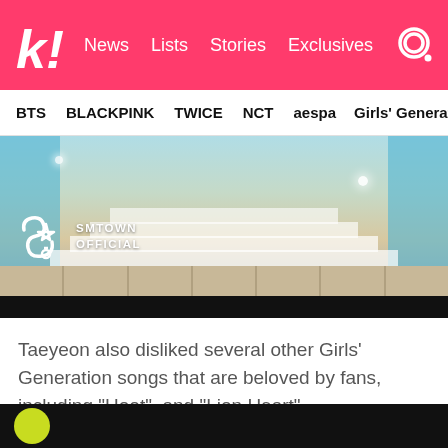k! News   Lists   Stories   Exclusives
BTS   BLACKPINK   TWICE   NCT   aespa   Girls' Generation
[Figure (photo): Screenshot of a SMTOWN Official YouTube video thumbnail showing performers on a grand staircase stage with blue curtains. SMTOWN OFFICIAL logo visible in lower left.]
Taeyeon also disliked several other Girls' Generation songs that are beloved by fans, including “Hoot”, and “Lion Heart”.
4. Block B – “Freeze”
[Figure (photo): Bottom strip of another video thumbnail showing a partial view, dark background with a circular yellow/green element visible.]